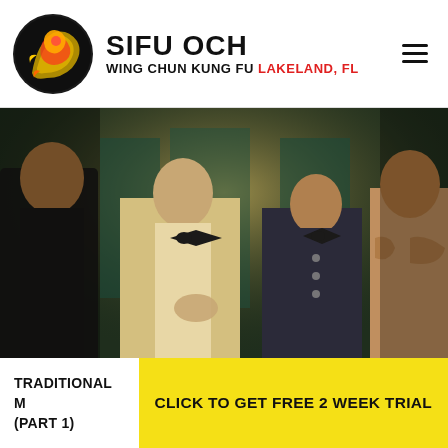SIFU OCH WING CHUN KUNG FU Lakeland, FL
[Figure (photo): Four men in formal attire including bow ties, appearing to be in conversation in a dimly lit venue. One man is shirtless on the right. Scene has warm yellow-green tones.]
TRADITIONAL M... (PART 1)
CLICK TO GET FREE 2 WEEK TRIAL